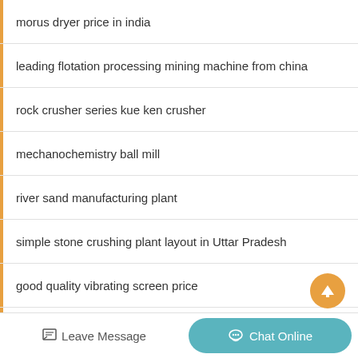morus dryer price in india
leading flotation processing mining machine from china
rock crusher series kue ken crusher
mechanochemistry ball mill
river sand manufacturing plant
simple stone crushing plant layout in Uttar Pradesh
good quality vibrating screen price
ball mill principle
Leave Message  Chat Online